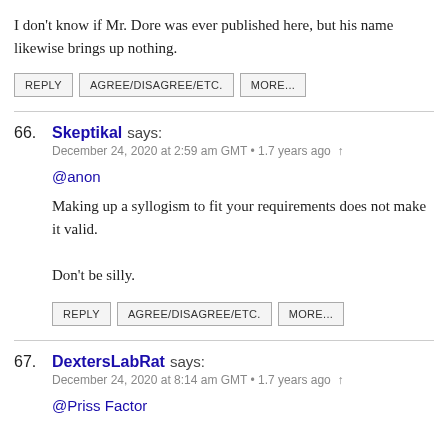I don't know if Mr. Dore was ever published here, but his name likewise brings up nothing.
REPLY   AGREE/DISAGREE/ETC.   MORE...
66. Skeptikal says:
December 24, 2020 at 2:59 am GMT • 1.7 years ago ↑
@anon

Making up a syllogism to fit your requirements does not make it valid.

Don't be silly.
REPLY   AGREE/DISAGREE/ETC.   MORE...
67. DextersLabRat says:
December 24, 2020 at 8:14 am GMT • 1.7 years ago ↑
@Priss Factor